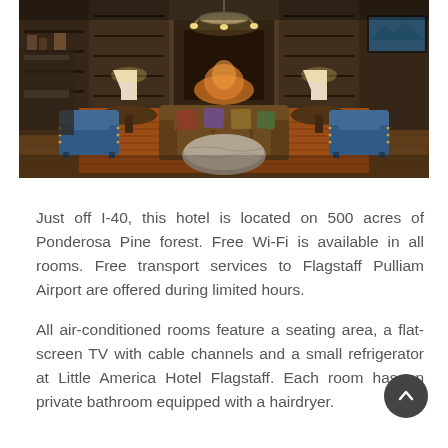[Figure (photo): Interior photo of a hotel lobby lounge with rustic decor. Features blue armchairs, a brown leather sofa with colorful pillows, a stone coffee table, warm lighting from table lamps and a chandelier, dark wood shelving along walls, and a flat-screen TV on the right.]
Just off I-40, this hotel is located on 500 acres of Ponderosa Pine forest. Free Wi-Fi is available in all rooms. Free transport services to Flagstaff Pulliam Airport are offered during limited hours.
All air-conditioned rooms feature a seating area, a flat-screen TV with cable channels and a small refrigerator at Little America Hotel Flagstaff. Each room has an private bathroom equipped with a hairdryer.